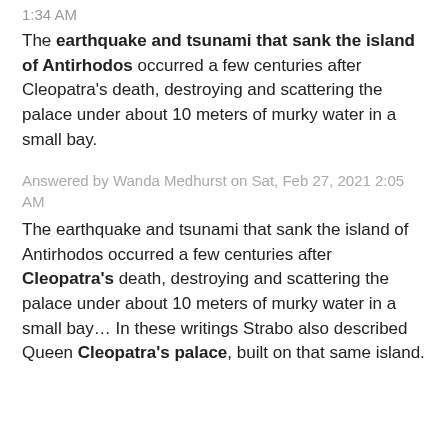1:34 AM
The earthquake and tsunami that sank the island of Antirhodos occurred a few centuries after Cleopatra's death, destroying and scattering the palace under about 10 meters of murky water in a small bay.
Answered by Wanda Medhurst on Sat, Feb 27, 2021 2:05 AM
The earthquake and tsunami that sank the island of Antirhodos occurred a few centuries after Cleopatra's death, destroying and scattering the palace under about 10 meters of murky water in a small bay… In these writings Strabo also described Queen Cleopatra's palace, built on that same island.